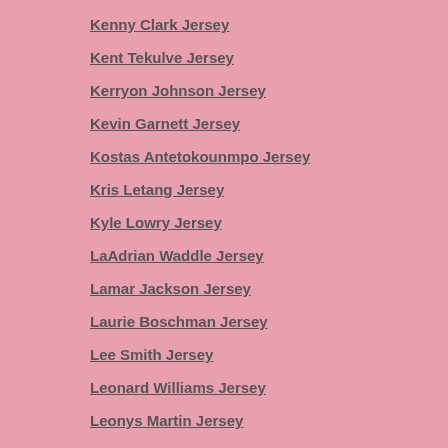Kenny Clark Jersey
Kent Tekulve Jersey
Kerryon Johnson Jersey
Kevin Garnett Jersey
Kostas Antetokounmpo Jersey
Kris Letang Jersey
Kyle Lowry Jersey
LaAdrian Waddle Jersey
Lamar Jackson Jersey
Laurie Boschman Jersey
Lee Smith Jersey
Leonard Williams Jersey
Leonys Martin Jersey
Lorenzo Cain Jersey
Lukas Dostal Jersey
Marco Estrada Jersey
Marcus Williams Jersey
Mark Clayton Jersey
Marquis Haynes Jersey